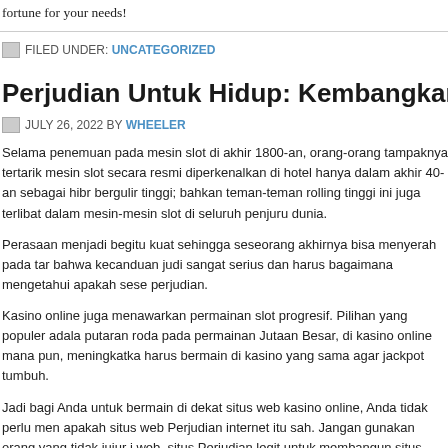fortune for your needs!
FILED UNDER: UNCATEGORIZED
Perjudian Untuk Hidup: Kembangkan ke Tingkat yang Le
JULY 26, 2022 BY WHEELER
Selama penemuan pada mesin slot di akhir 1800-an, orang-orang tampaknya tertarik mesin slot secara resmi diperkenalkan di hotel hanya dalam akhir 40-an sebagai hibu bergulir tinggi; bahkan teman-teman rolling tinggi ini juga terlibat dalam mesin-mesin slot di seluruh penjuru dunia.
Perasaan menjadi begitu kuat sehingga seseorang akhirnya bisa menyerah pada tar bahwa kecanduan judi sangat serius dan harus bagaimana mengetahui apakah sese perjudian.
Kasino online juga menawarkan permainan slot progresif. Pilihan yang populer adala putaran roda pada permainan Jutaan Besar, di kasino online mana pun, meningkatka harus bermain di kasino yang sama agar jackpot tumbuh.
Jadi bagi Anda untuk bermain di dekat situs web kasino online, Anda tidak perlu men apakah situs web Perjudian internet itu sah. Jangan gunakan orang yang tidak jujur i web. situs Perjudian legit untuk membangun situs mereka tampak mirip dengan yang berada di ini sebenarnya adalah apa yang dinikirkan.